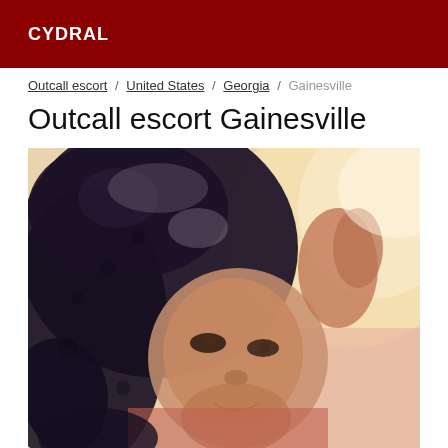CYDRAL
Outcall escort / United States / Georgia / Gainesville
Outcall escort Gainesville
[Figure (photo): Close-up photo of a young woman with curly dark hair, smiling, looking toward camera, warm toned background]